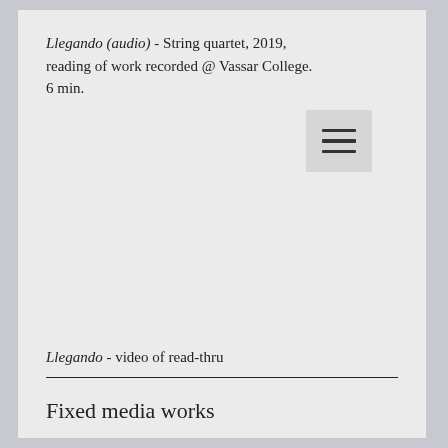Llegando (audio) - String quartet, 2019, reading of work recorded @ Vassar College. 6 min.
[Figure (other): Hamburger menu icon (three horizontal lines) on a light gray background square]
Llegando - video of read-thru
Fixed media works